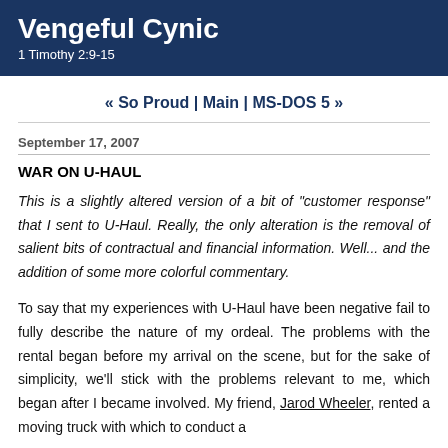Vengeful Cynic
1 Timothy 2:9-15
« So Proud | Main | MS-DOS 5 »
September 17, 2007
WAR ON U-HAUL
This is a slightly altered version of a bit of "customer response" that I sent to U-Haul. Really, the only alteration is the removal of salient bits of contractual and financial information. Well... and the addition of some more colorful commentary.
To say that my experiences with U-Haul have been negative fail to fully describe the nature of my ordeal. The problems with the rental began before my arrival on the scene, but for the sake of simplicity, we'll stick with the problems relevant to me, which began after I became involved.
My friend, Jarod Wheeler, rented a moving truck with which to conduct a